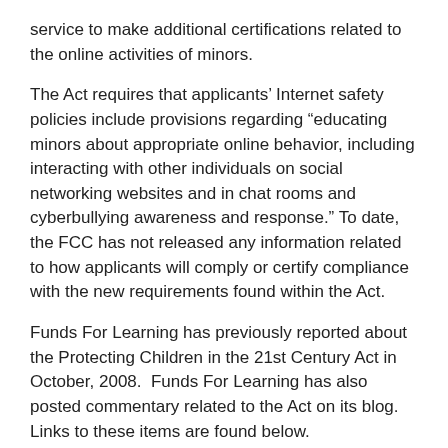service to make additional certifications related to the online activities of minors.
The Act requires that applicants' Internet safety policies include provisions regarding “educating minors about appropriate online behavior, including interacting with other individuals on social networking websites and in chat rooms and cyberbullying awareness and response.” To date, the FCC has not released any information related to how applicants will comply or certify compliance with the new requirements found within the Act.
Funds For Learning has previously reported about the Protecting Children in the 21st Century Act in October, 2008.  Funds For Learning has also posted commentary related to the Act on its blog. Links to these items are found below.
News